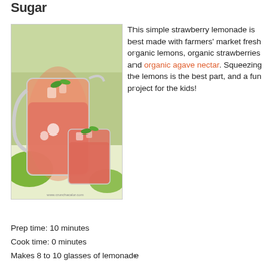Sugar
[Figure (photo): A glass pitcher and a drinking glass filled with pink strawberry lemonade, garnished with green leaves, sitting on a white and green tray. Floral design on the glassware. Photo credit: www.crunchacalor.com]
This simple strawberry lemonade is best made with farmers' market fresh organic lemons, organic strawberries and organic agave nectar. Squeezing the lemons is the best part, and a fun project for the kids!
Prep time: 10 minutes
Cook time: 0 minutes
Makes 8 to 10 glasses of lemonade